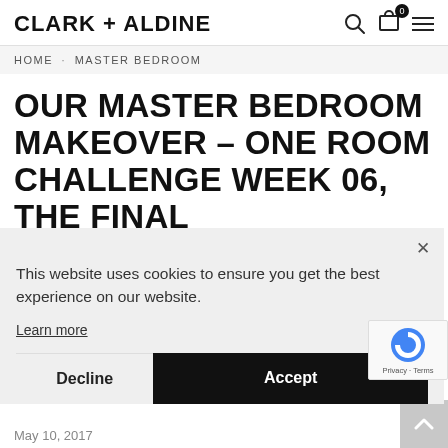CLARK + ALDINE
HOME · MASTER BEDROOM
OUR MASTER BEDROOM MAKEOVER – ONE ROOM CHALLENGE WEEK 06, THE FINAL REVEAL
This website uses cookies to ensure you get the best experience on our website.
Learn more
Decline
Accept
May 10, 2017